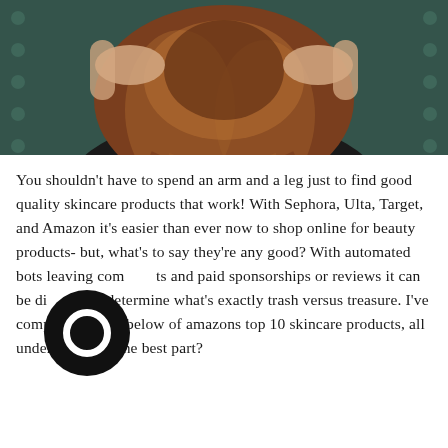[Figure (photo): Close-up photo of a person with auburn/brown wavy hair pulled up, wearing a black top, photographed from behind/above against a dark patterned background.]
You shouldn't have to spend an arm and a leg just to find good quality skincare products that work! With Sephora, Ulta, Target, and Amazon it's easier than ever now to shop online for beauty products- but, what's to say they're any good? With automated bots leaving comments and paid sponsorships or reviews it can be difficult to determine what's exactly trash versus treasure. I've compiled the list below of amazons top 10 skincare products, all under $10. And the best part?